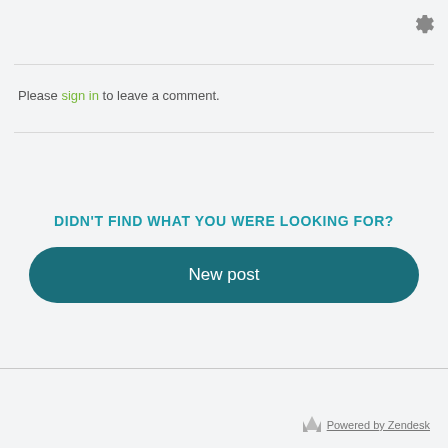[Figure (other): Gear/settings icon in top right corner]
Please sign in to leave a comment.
DIDN'T FIND WHAT YOU WERE LOOKING FOR?
New post
Zerion Software Customer Success Center
Powered by Zendesk